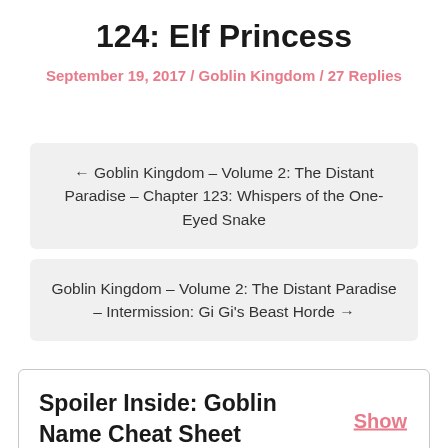124: Elf Princess
September 19, 2017 / Goblin Kingdom / 27 Replies
← Goblin Kingdom – Volume 2: The Distant Paradise – Chapter 123: Whispers of the One-Eyed Snake
Goblin Kingdom – Volume 2: The Distant Paradise – Intermission: Gi Gi's Beast Horde →
Spoiler Inside: Goblin Name Cheat Sheet Show